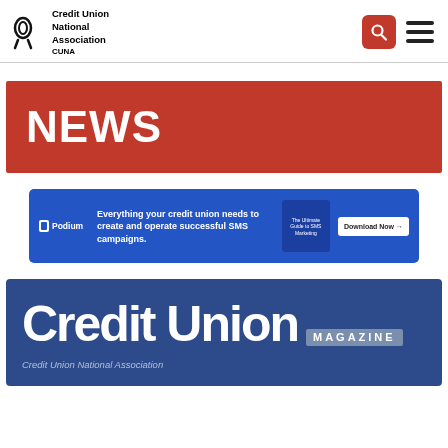CUNA Credit Union National Association
NEWS
[Figure (infographic): Podium advertisement banner: 'Everything your credit union needs to create and operate successful SMS campaigns.' with a Download Now button and book cover graphic]
[Figure (logo): Credit Union Magazine logo on dark blue background with tagline 'Credit Union National Association']